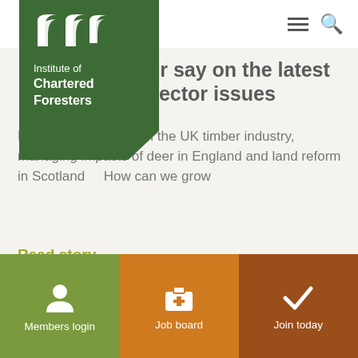[Figure (logo): Institute of Chartered Foresters logo — green block with white CF wing icon and white text]
ur say on the latest sector issues
Express your views on the UK timber industry, managing impacts of deer in England and land reform in Scotland    How can we grow
Read story
[Figure (photo): Partial photo of a woman with dark hair, cropped to show top of head]
Members login
Job board
Join today